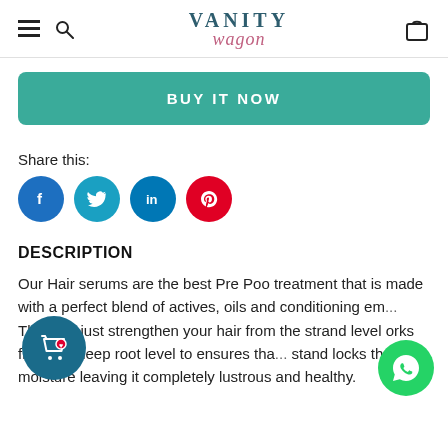Vanity Wagon — navigation header with hamburger menu, search icon, logo, and cart icon
BUY IT NOW
Share this:
[Figure (infographic): Social sharing icons: Facebook (blue circle with f), Twitter (blue circle with bird), LinkedIn (blue circle with in), Pinterest (red circle with P)]
DESCRIPTION
Our Hair serums are the best Pre Poo treatment that is made with a perfect blend of actives, oils and conditioning em... They not just strengthen your hair from the strand level works from the deep root level to ensures tha... stand locks the moisture leaving it completely lustrous and healthy.